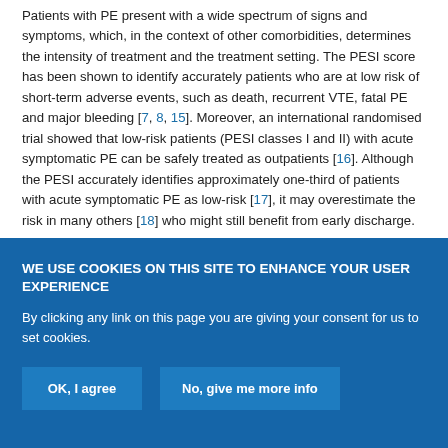Patients with PE present with a wide spectrum of signs and symptoms, which, in the context of other comorbidities, determines the intensity of treatment and the treatment setting. The PESI score has been shown to identify accurately patients who are at low risk of short-term adverse events, such as death, recurrent VTE, fatal PE and major bleeding [7, 8, 15]. Moreover, an international randomised trial showed that low-risk patients (PESI classes I and II) with acute symptomatic PE can be safely treated as outpatients [16]. Although the PESI accurately identifies approximately one-third of patients with acute symptomatic PE as low-risk [17], it may overestimate the risk in many others [18] who might still benefit from early discharge.
WE USE COOKIES ON THIS SITE TO ENHANCE YOUR USER EXPERIENCE
By clicking any link on this page you are giving your consent for us to set cookies.
OK, I agree
No, give me more info